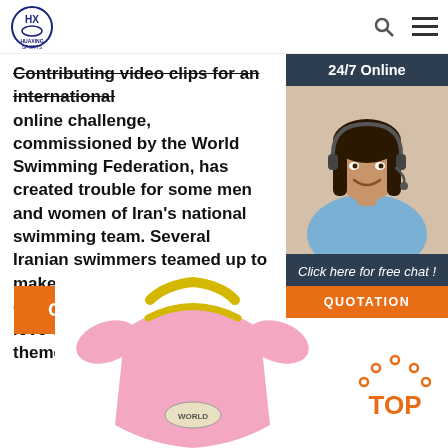[Figure (logo): Huaxing Sports logo in top left corner]
Contributing video clips for an international online challenge, commissioned by the World Swimming Federation, has created trouble for some men and women of Iran's national swimming team. Several Iranian swimmers teamed up to make a video clip, using quarantines, coronavirus and a love of swimming as their theme.
[Figure (infographic): Get Price orange button]
[Figure (infographic): 24/7 Online chat widget with woman wearing headset, and QUOTATION button]
[Figure (photo): Pink children's swimsuit with yellow trim and ruffled sleeves]
[Figure (infographic): TOP back-to-top button with orange dots]